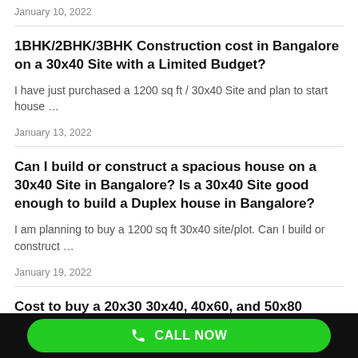January 10, 2022
1BHK/2BHK/3BHK Construction cost in Bangalore on a 30x40 Site with a Limited Budget?
I have just purchased a 1200 sq ft / 30x40 Site and plan to start house …
January 13, 2022
Can I build or construct a spacious house on a 30x40 Site in Bangalore? Is a 30x40 Site good enough to build a Duplex house in Bangalore?
I am planning to buy a 1200 sq ft 30x40 site/plot. Can I build or construct …
January 19, 2022
Cost to buy a 20x30 30x40, 40x60, and 50x80 Site/Plot in Bangalore?
CALL NOW